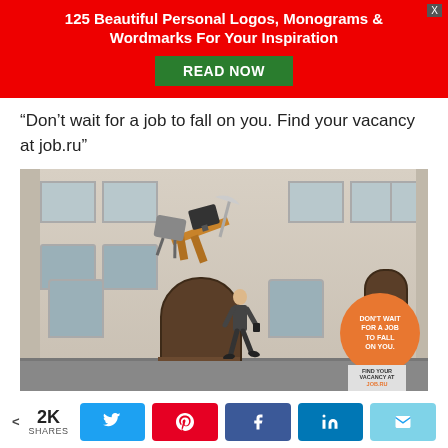[Figure (infographic): Red advertisement banner for '125 Beautiful Personal Logos, Monograms & Wordmarks For Your Inspiration' with a green 'READ NOW' button and an X close button]
“Don’t wait for a job to fall on you. Find your vacancy at job.ru”
[Figure (photo): Advertisement photo for job.ru showing a man in a suit walking past a building while office furniture (desk, chair, computer monitor, lamp) falls from above. An orange circular badge reads 'DON'T WAIT FOR A JOB TO FALL ON YOU.' and below it text reads 'FIND YOUR VACANCY AT JOB.RU']
2K SHARES